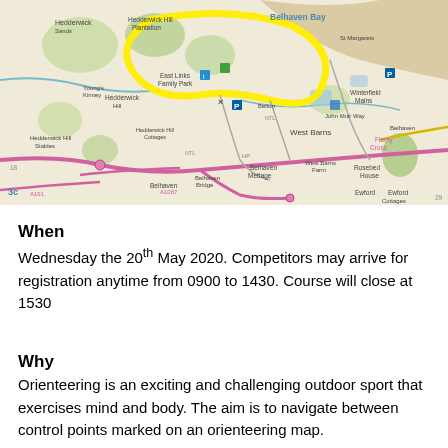[Figure (map): Ordnance Survey map showing the area around East Links Family Park, Hedderwick, West Barns, Belhaven Bay and surroundings near Dunbar. A yellow highlighted route/circle is marked on the map.]
When
Wednesday the 20th May 2020. Competitors may arrive for registration anytime from 0900 to 1430. Course will close at 1530
Why
Orienteering is an exciting and challenging outdoor sport that exercises mind and body. The aim is to navigate between control points marked on an orienteering map.